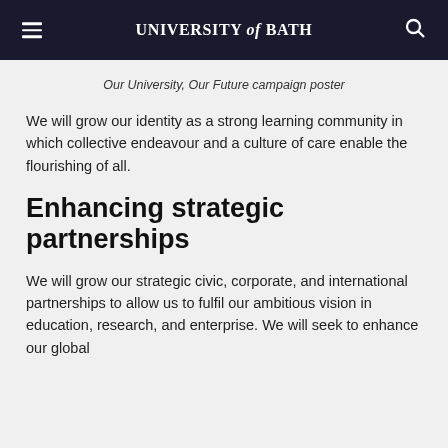UNIVERSITY of BATH
Our University, Our Future campaign poster
We will grow our identity as a strong learning community in which collective endeavour and a culture of care enable the flourishing of all.
Enhancing strategic partnerships
We will grow our strategic civic, corporate, and international partnerships to allow us to fulfil our ambitious vision in education, research, and enterprise. We will seek to enhance our global